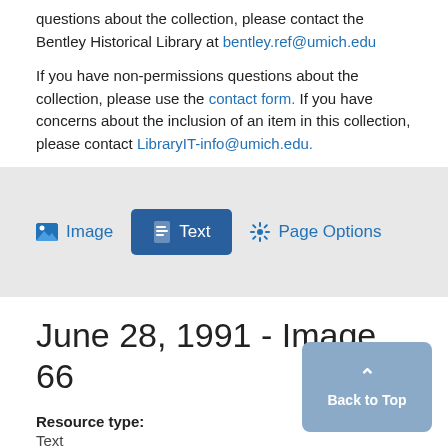questions about the collection, please contact the Bentley Historical Library at bentley.ref@umich.edu
If you have non-permissions questions about the collection, please use the contact form. If you have concerns about the inclusion of an item in this collection, please contact LibraryIT-info@umich.edu.
[Figure (screenshot): Navigation bar with Image, Text (active/highlighted in blue), and Page Options buttons on a gray background]
June 28, 1991 - Image 66
Resource type:
Text
Publication:
The Detroit Jewish News, 1991-06-28